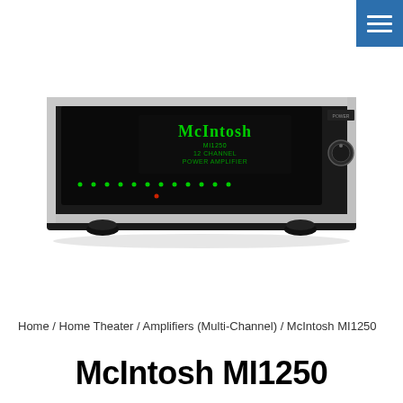[Figure (photo): McIntosh MI1250 12-channel power amplifier, front view. Black chassis with silver trim, large black display panel showing McIntosh logo and model info in green text, green LED indicators, and a power knob on the right side. Four feet visible at bottom.]
Home / Home Theater / Amplifiers (Multi-Channel) / McIntosh MI1250
McIntosh MI1250